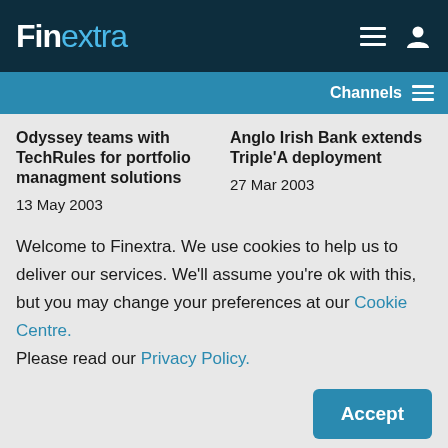Finextra
Channels
Odyssey teams with TechRules for portfolio managment solutions
13 May 2003
Anglo Irish Bank extends Triple'A deployment
27 Mar 2003
Welcome to Finextra. We use cookies to help us to deliver our services. We'll assume you're ok with this, but you may change your preferences at our Cookie Centre. Please read our Privacy Policy.